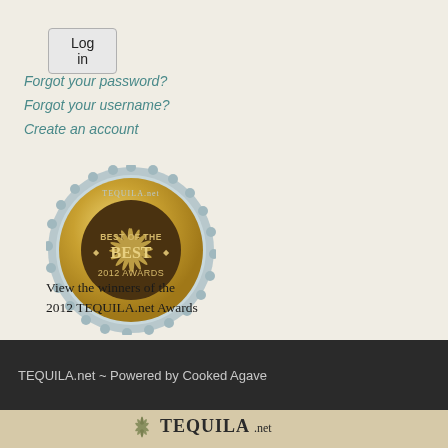Log in
Forgot your password?
Forgot your username?
Create an account
[Figure (logo): TEQUILA.net Best of the Best 2012 Awards gold seal badge]
View the winners of the 2012 TEQUILA.net Awards
TEQUILA.net ~ Powered by Cooked Agave
[Figure (logo): TEQUILA.net logo at bottom strip with agave plant icon]